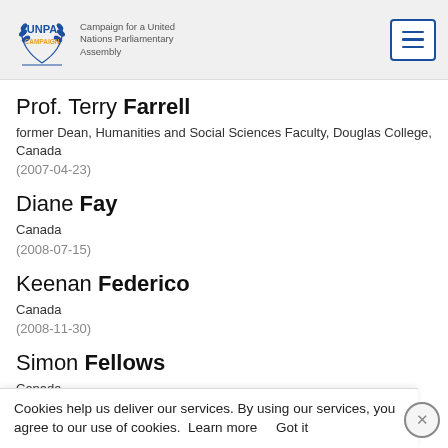UNPA CAMPAIGN — Campaign for a United Nations Parliamentary Assembly
Prof. Terry Farrell
former Dean, Humanities and Social Sciences Faculty, Douglas College, Canada
(2007-04-23)
Diane Fay
Canada
(2008-07-15)
Keenan Federico
Canada
(2008-11-30)
Simon Fellows
Canada
(2008-03-28)
Cookies help us deliver our services. By using our services, you agree to our use of cookies.  Learn more     Got it